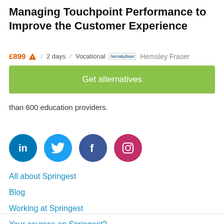Managing Touchpoint Performance to Improve the Customer Experience
£899 ⚠ / 2 days / Vocational  hemsley fraser  Hemsley Fraser
Get alternatives
than 600 education providers.
[Figure (other): Social media icons: LinkedIn (blue), Twitter (light blue), Facebook (dark blue), Instagram (pink/red)]
All about Springest
Blog
Working at Springest
Your courses on Springest?